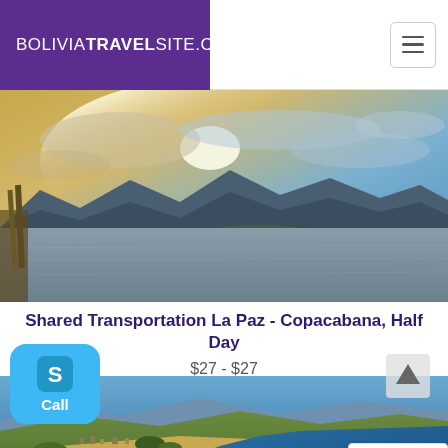BOLIVIATRAVELSITE.COM
[Figure (photo): Landscape view of Lake Titicaca with mountains in background, dramatic cloudy sky with golden light]
Shared Transportation La Paz - Copacabana, Half Day
$27 - $27
[Figure (photo): Aerial view of Copacabana peninsula and Lake Titicaca with mountains and blue water]